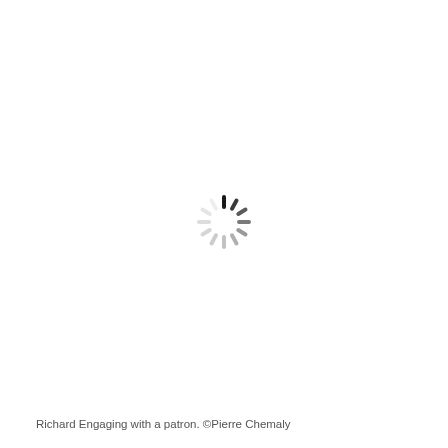[Figure (other): Loading spinner icon — a circular arrangement of radial lines (dashes) fading from dark to light, centered on the page, representing a web loading animation.]
Richard Engaging with a patron. ©Pierre Chemaly